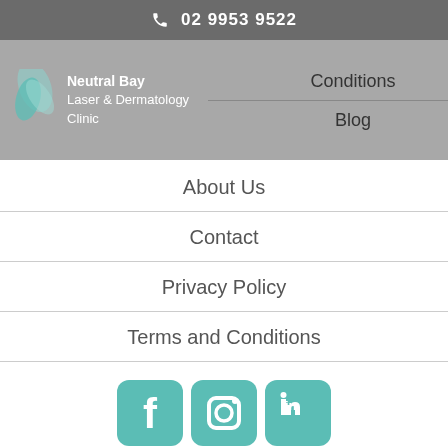02 9953 9522
[Figure (logo): Neutral Bay Laser & Dermatology Clinic logo with teal leaf graphic]
Conditions
Blog
About Us
Contact
Privacy Policy
Terms and Conditions
[Figure (infographic): Facebook, Instagram, and LinkedIn social media icons in teal rounded square style]
Neutral Bay Laser & Dermatology Clinic